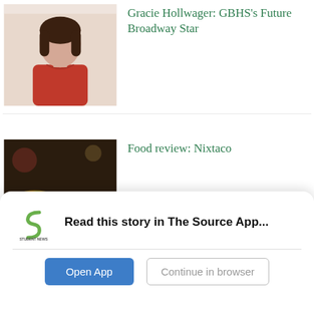[Figure (photo): Portrait of a young woman with dark hair wearing a red top, against a light background]
Gracie Hollwager: GBHS's Future Broadway Star
[Figure (photo): Close-up of food dishes on a wooden surface, featuring Mexican-style tacos and toppings]
Food review: Nixtaco
[Figure (photo): Close-up of a small animal (possibly a hamster or small pet) among white flowers with bokeh background]
Do larger pets hold a larger part of our hearts?
[Figure (logo): Student News Source app logo - green S shape with text 'STUDENT NEWS SOURCE' below]
Read this story in The Source App...
Open App
Continue in browser